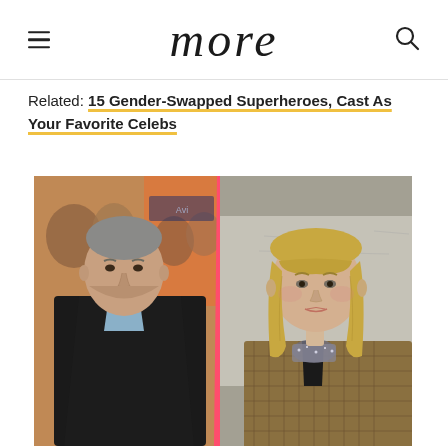more
Related: 15 Gender-Swapped Superheroes, Cast As Your Favorite Celebs
[Figure (photo): Split composite photo: left side shows a middle-aged man in a dark suit with a light blue shirt, looking serious; right side shows a young blonde woman with bangs wearing a plaid blazer; photos are separated by a pink diagonal stripe]